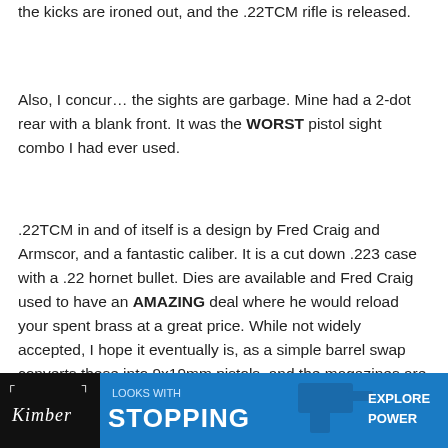the kicks are ironed out, and the .22TCM rifle is released.
Also, I concur… the sights are garbage. Mine had a 2-dot rear with a blank front. It was the WORST pistol sight combo I had ever used.
.22TCM in and of itself is a design by Fred Craig and Armscor, and a fantastic caliber. It is a cut down .223 case with a .22 hornet bullet. Dies are available and Fred Craig used to have an AMAZING deal where he would reload your spent brass at a great price. While not widely accepted, I hope it eventually is, as a simple barrel swap converts these into 9x19mm pistols, and the magazines are even the same.
Reply
"
[Figure (infographic): Advertisement banner for Kimber firearms showing 'LOOKS WITH STOPPING' text and 'EXPLORE' call to action on a blue background with a handgun image]